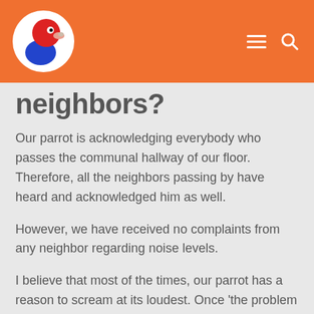[Figure (logo): Parrot website logo: circular white background with cartoon red parrot head and blue speech bubble body, on orange header bar]
neighbors?
Our parrot is acknowledging everybody who passes the communal hallway of our floor. Therefore, all the neighbors passing by have heard and acknowledged him as well.
However, we have received no complaints from any neighbor regarding noise levels.
I believe that most of the times, our parrot has a reason to scream at its loudest. Once 'the problem is solved' our bird calms down as well. That allows a happy humans and conure co-habitation in a block of